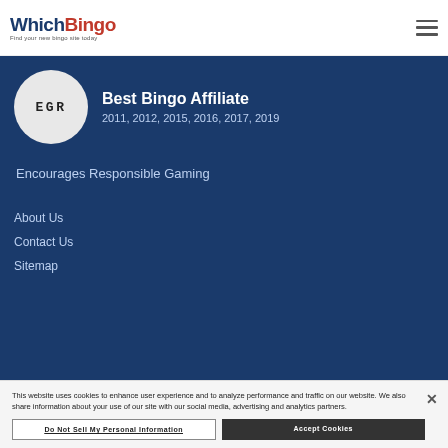WhichBingo - Find your new bingo site today
[Figure (logo): EGR award badge circle with text 'EGR' in dot-matrix style]
Best Bingo Affiliate
2011, 2012, 2015, 2016, 2017, 2019
Encourages Responsible Gaming
About Us
Contact Us
Sitemap
This website uses cookies to enhance user experience and to analyze performance and traffic on our website. We also share information about your use of our site with our social media, advertising and analytics partners.
Do Not Sell My Personal Information
Accept Cookies